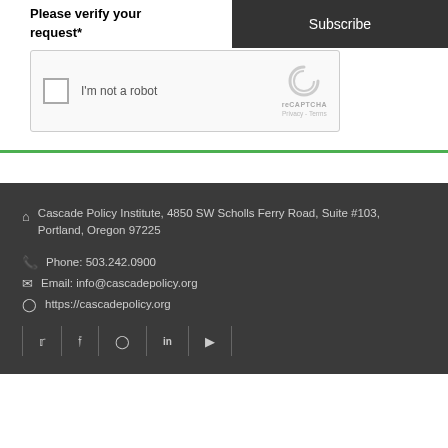Please verify your request*
[Figure (screenshot): reCAPTCHA widget with checkbox labeled I'm not a robot, and reCAPTCHA logo with Privacy - Terms links]
[Figure (screenshot): Subscribe button (dark background)]
Cascade Policy Institute, 4850 SW Scholls Ferry Road, Suite #103, Portland, Oregon 97225
Phone: 503.242.0900
Email: info@cascadepolicy.org
https://cascadepolicy.org
[Figure (screenshot): Social media icons: Twitter, Facebook, Instagram, LinkedIn, YouTube separated by vertical dividers]